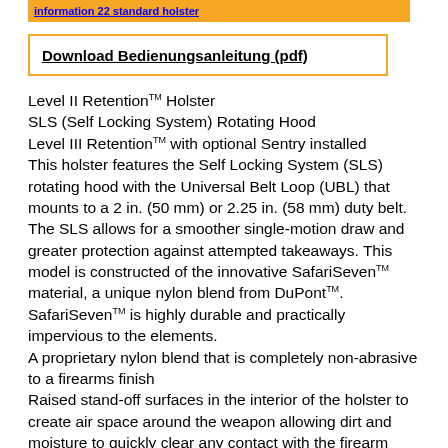information 22 standard holster
Download Bedienungsanleitung (pdf)
Level II Retention™ Holster
SLS (Self Locking System) Rotating Hood
Level III Retention™ with optional Sentry installed
This holster features the Self Locking System (SLS) rotating hood with the Universal Belt Loop (UBL) that mounts to a 2 in. (50 mm) or 2.25 in. (58 mm) duty belt. The SLS allows for a smoother single-motion draw and greater protection against attempted takeaways. This model is constructed of the innovative SafariSeven™ material, a unique nylon blend from DuPont™. SafariSeven™ is highly durable and practically impervious to the elements.
A proprietary nylon blend that is completely non-abrasive to a firearms finish
Raised stand-off surfaces in the interior of the holster to create air space around the weapon allowing dirt and moisture to quickly clear any contact with the firearm
Very high heat and low cold tolerances structurally sound from 300 degrees F to -50 degrees F
Can be submerged in water indefinitely and still maintain shape and function